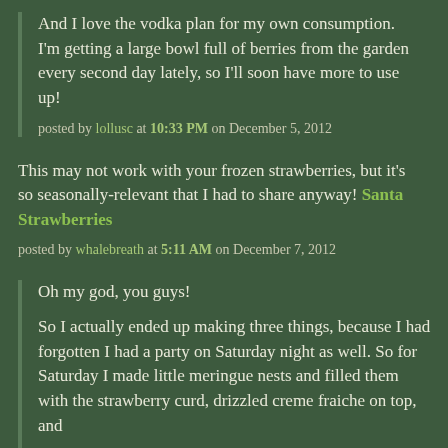And I love the vodka plan for my own consumption. I'm getting a large bowl full of berries from the garden every second day lately, so I'll soon have more to use up!
posted by lollusc at 10:33 PM on December 5, 2012
This may not work with your frozen strawberries, but it's so seasonally-relevant that I had to share anyway! Santa Strawberries
posted by whalebreath at 5:11 AM on December 7, 2012
Oh my god, you guys!
So I actually ended up making three things, because I had forgotten I had a party on Saturday night as well. So for Saturday I made little meringue nests and filled them with the strawberry curd, drizzled creme fraiche on top, and